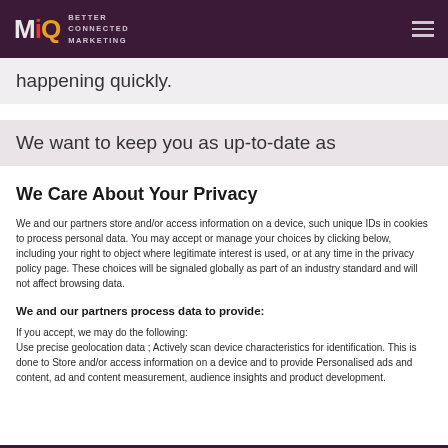MiQ BETTER CONNECTED MARKETING
happening quickly.
We want to keep you as up-to-date as
We Care About Your Privacy
We and our partners store and/or access information on a device, such unique IDs in cookies to process personal data. You may accept or manage your choices by clicking below, including your right to object where legitimate interest is used, or at any time in the privacy policy page. These choices will be signaled globally as part of an industry standard and will not affect browsing data.
We and our partners process data to provide:
If you accept, we may do the following:
Use precise geolocation data ; Actively scan device characteristics for identification. This is done to Store and/or access information on a device and to provide Personalised ads and content, ad and content measurement, audience insights and product development.